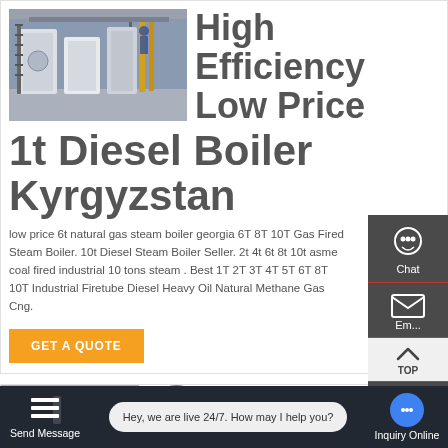[Figure (photo): Industrial boiler room with large white boilers and metal staircases]
High Efficiency Low Price 1t Diesel Boiler Kyrgyzstan
low price 6t natural gas steam boiler georgia 6T 8T 10T Gas Fired Steam Boiler. 10t Diesel Steam Boiler Seller. 2t 4t 6t 8t 10t asme coal fired industrial 10 tons steam . Best 1T 2T 3T 4T 5T 6T 8T 10T Industrial Firetube Diesel Heavy Oil Natural Methane Gas Cng.
GET A QUOTE
[Figure (screenshot): Side panel with Chat, Email, TOP, and Contact buttons on dark background]
[Figure (photo): Second boiler product image partially visible at bottom]
Send Message
Hey, we are live 24/7. How may I help you?
Inquiry Online